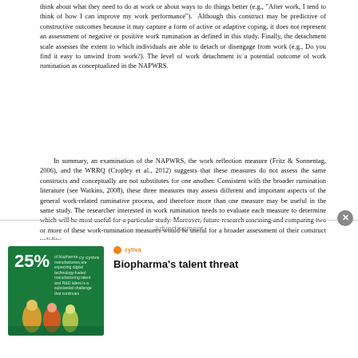think about what they need to do at work or about ways to do things better (e.g., "After work, I tend to think of how I can improve my work performance").  Although this construct may be predictive of constructive outcomes because it may capture a form of active or adaptive coping, it does not represent an assessment of negative or positive work rumination as defined in this study.  Finally, the detachment scale assesses the extent to which individuals are able to detach or disengage from work (e.g., Do you find it easy to unwind from work?).  The level of work detachment is a potential outcome of work rumination as conceptualized in the NAPWRS.
In summary, an examination of the NAPWRS, the work reflection measure (Fritz & Sonnentag, 2006), and the WRRQ (Cropley et al., 2012) suggests that these measures do not assess the same constructs and conceptually are not substitutes for one another.  Consistent with the broader rumination literature (see Watkins, 2008), these three measures may assess different and important aspects of the general work-related ruminative process, and therefore more than one measure may be useful in the same study.  The researcher interested in work rumination needs to evaluate each measure to determine which will be most useful for a particular study.  Moreover, future research assessing and comparing two or more of these work-rumination measures would be useful for a broader assessment of their construct validity.
Advertisement
[Figure (illustration): Advertisement banner for Cytiva: green background with '25%' text in large white font, small text about biopharma manufacturing and talent, illustrated figures of people at bottom. Right side shows Cytiva logo and text 'Biopharma's talent threat' in bold.]